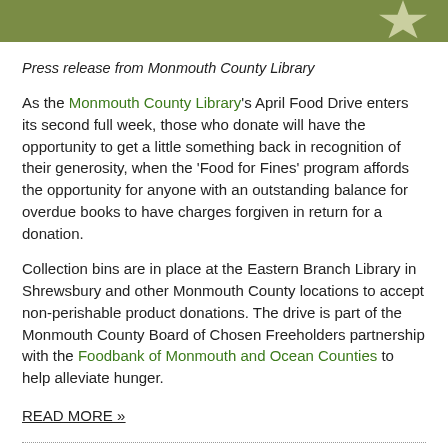[Figure (photo): Outdoor photo bar showing grass and a star-shaped decoration, cropped to a narrow horizontal strip at the top of the page.]
Press release from Monmouth County Library
As the Monmouth County Library's April Food Drive enters its second full week, those who donate will have the opportunity to get a little something back in recognition of their generosity, when the 'Food for Fines' program affords the opportunity for anyone with an outstanding balance for overdue books to have charges forgiven in return for a donation.
Collection bins are in place at the Eastern Branch Library in Shrewsbury and other Monmouth County locations to accept non-perishable product donations. The drive is part of the Monmouth County Board of Chosen Freeholders partnership with the Foodbank of Monmouth and Ocean Counties to help alleviate hunger.
READ MORE »
April 12, 2017 - 5:00 am |